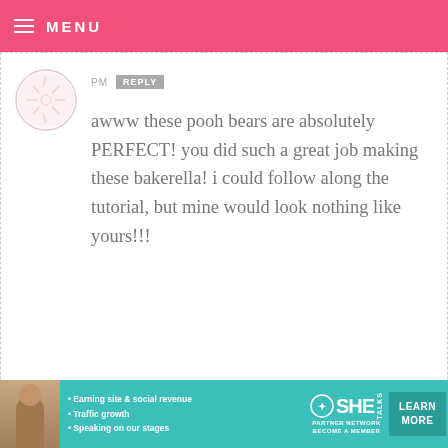MENU
PM  REPLY
awww these pooh bears are absolutely PERFECT! you did such a great job making these bakerella! i could follow along the tutorial, but mine would look nothing like yours!!!
KATY — MAY 16, 2010 @ 11:21 PM  REPLY
love them!!! winnie the pooh is my favorite!
[Figure (infographic): SHE Partner Network advertisement banner with woman photo, bullet points about earning site & social revenue, traffic growth, speaking on our stages, SHE logo, and LEARN MORE button]